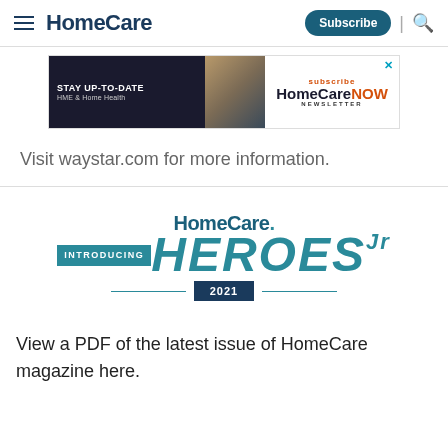HomeCare
[Figure (screenshot): HomeCare NOW newsletter advertisement banner with text: STAY UP-TO-DATE HME & Home Health, subscribe HomeCare NOW NEWSLETTER]
Visit waystar.com for more information.
[Figure (logo): HomeCare magazine logo with INTRODUCING HEROES Jr 2021 badge]
View a PDF of the latest issue of HomeCare magazine here.